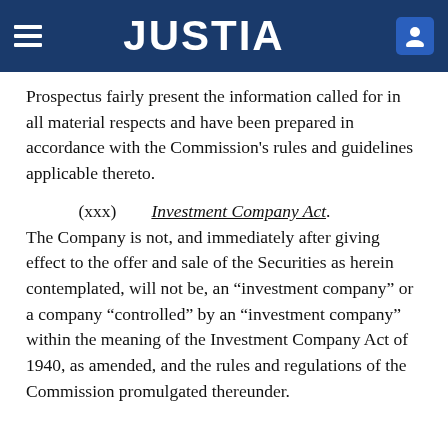JUSTIA
Prospectus fairly present the information called for in all material respects and have been prepared in accordance with the Commission’s rules and guidelines applicable thereto.
(xxx) Investment Company Act. The Company is not, and immediately after giving effect to the offer and sale of the Securities as herein contemplated, will not be, an “investment company” or a company “controlled” by an “investment company” within the meaning of the Investment Company Act of 1940, as amended, and the rules and regulations of the Commission promulgated thereunder.